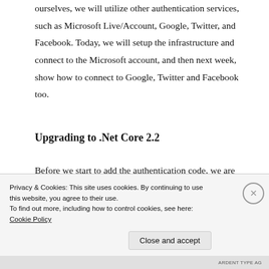ourselves, we will utilize other authentication services, such as Microsoft Live/Account, Google, Twitter, and Facebook. Today, we will setup the infrastructure and connect to the Microsoft account, and then next week, show how to connect to Google, Twitter and Facebook too.
Upgrading to .Net Core 2.2
Before we start to add the authentication code, we are quickly going to upgrade to .Net Core
Privacy & Cookies: This site uses cookies. By continuing to use this website, you agree to their use.
To find out more, including how to control cookies, see here: Cookie Policy
Close and accept